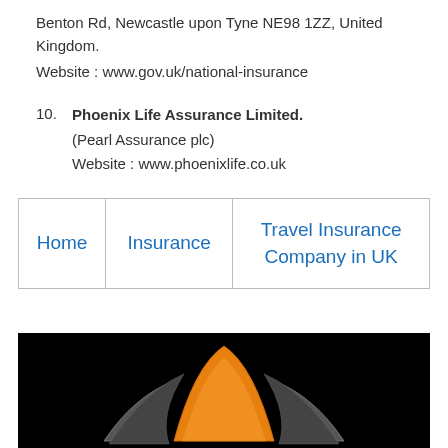Benton Rd, Newcastle upon Tyne NE98 1ZZ, United Kingdom.
Website : www.gov.uk/national-insurance
10. Phoenix Life Assurance Limited.
(Pearl Assurance plc)
Website : www.phoenixlife.co.uk
| Home | Insurance | Travel Insurance Company in UK |
| --- | --- | --- |
[Figure (photo): A logo on a dark black background featuring a metallic and orange bird or wing-shaped emblem, partially visible at bottom of page.]